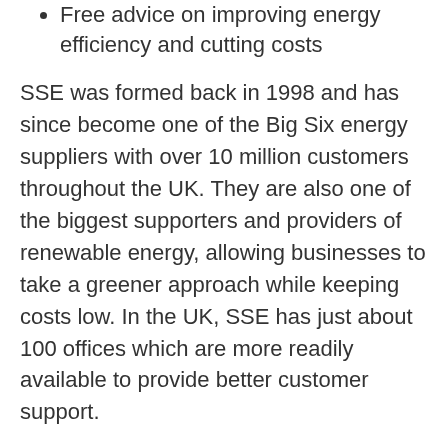Free advice on improving energy efficiency and cutting costs
SSE was formed back in 1998 and has since become one of the Big Six energy suppliers with over 10 million customers throughout the UK. They are also one of the biggest supporters and providers of renewable energy, allowing businesses to take a greener approach while keeping costs low. In the UK, SSE has just about 100 offices which are more readily available to provide better customer support.
E.ON
[Figure (logo): E.ON company logo in red, stylized text 'e.on' with a red dot between e and on]